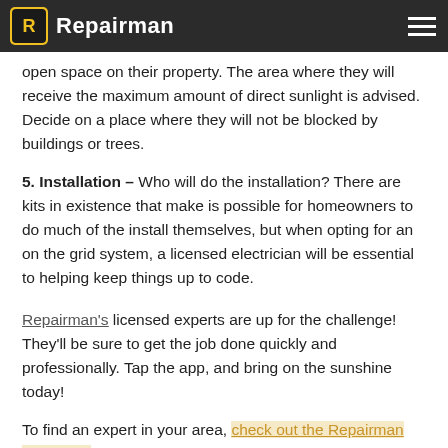Repairman
open space on their property. The area where they will receive the maximum amount of direct sunlight is advised. Decide on a place where they will not be blocked by buildings or trees.
5. Installation – Who will do the installation? There are kits in existence that make is possible for homeowners to do much of the install themselves, but when opting for an on the grid system, a licensed electrician will be essential to helping keep things up to code.
Repairman's licensed experts are up for the challenge! They'll be sure to get the job done quickly and professionally. Tap the app, and bring on the sunshine today!
To find an expert in your area, check out the Repairman App today. You can also find the latest news and updates by signing